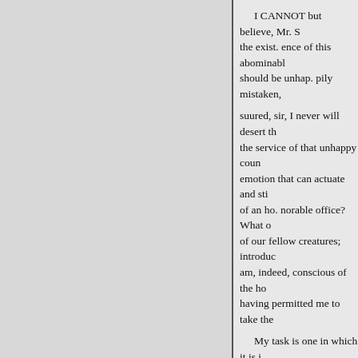I CANNOT but believe, Mr. S the exist. ence of this abominable should be unhap. pily mistaken,
suured, sir, I never will desert the the service of that unhappy coun emotion that can actuate and sti of an ho. norable office? What o of our fellow creatures; introduc am, indeed, conscious of the ho having permitted me to take the
My task is one in which it is i and peace. I lie down with it at n me to be conversant with scenes
tives of humanity, where your o desist from . this blessed work; b perseverance. I will not allow m decision.
XLII.—THE LOVE OF COU
Extract from "The West Indies